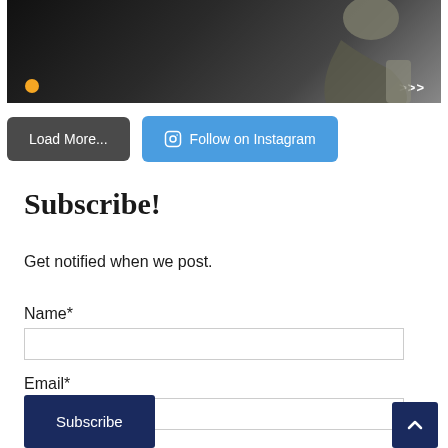[Figure (photo): Dark background photo showing a person leaning over, wearing a cap. There is an orange dot indicator at the bottom left and navigation arrows at the bottom right.]
Load More...
Follow on Instagram
Subscribe!
Get notified when we post.
Name*
Email*
Subscribe